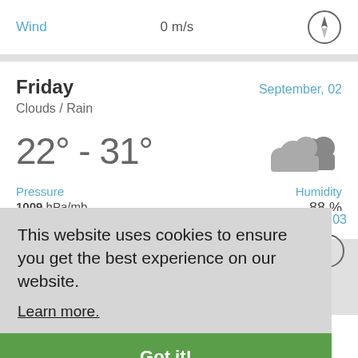Wind   0 m/s
Friday   September, 02
Clouds / Rain
22° - 31°
Pressure
1009 hPa/mb
757 mmHg
Humidity
88 %
This website uses cookies to ensure you get the best experience on our website.
Learn more.
Got it!